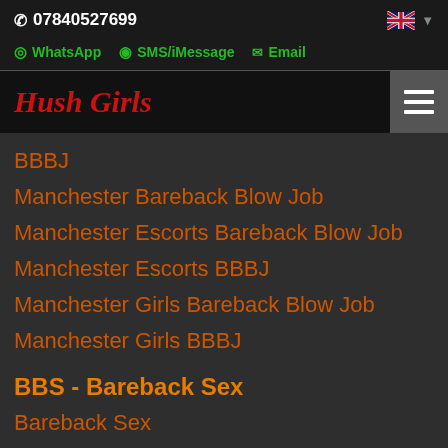07840527699
WhatsApp  SMS/iMessage  Email
Hush Girls
BBBJ
Manchester Bareback Blow Job
Manchester Escorts Bareback Blow Job
Manchester Escorts BBBJ
Manchester Girls Bareback Blow Job
Manchester Girls BBBJ
BBS - Bareback Sex
Bareback Sex
BBS Escorts
BBS Girls